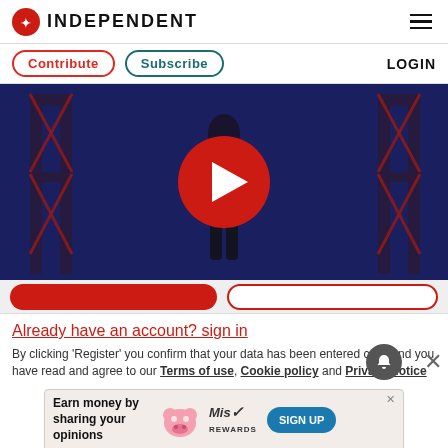INDEPENDENT
Contribute  Subscribe  LOGIN
[Figure (screenshot): Video player with dark blue background showing a person on stage, with a large red circular play button overlay in the center.]
Already have an account? sign in
By clicking 'Register' you confirm that your data has been entered correctly and you have read and agree to our Terms of use, Cookie policy and Privacy notice
[Figure (infographic): Advertisement banner: Earn money by sharing your opinions. Miss Rewards. SIGN UP button.]